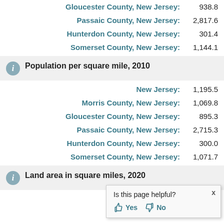Gloucester County, New Jersey: 938.8
Passaic County, New Jersey: 2,817.6
Hunterdon County, New Jersey: 301.4
Somerset County, New Jersey: 1,144.1
Population per square mile, 2010
New Jersey: 1,195.5
Morris County, New Jersey: 1,069.8
Gloucester County, New Jersey: 895.3
Passaic County, New Jersey: 2,715.3
Hunterdon County, New Jersey: 300.0
Somerset County, New Jersey: 1,071.7
Land area in square miles, 2020
New Jersey:
Morris County,